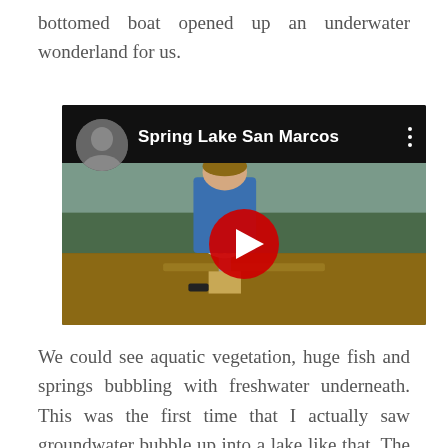bottomed boat opened up an underwater wonderland for us.
[Figure (screenshot): YouTube video thumbnail showing a person in a blue t-shirt standing at a boat wheel, with the title 'Spring Lake San Marcos' and a red YouTube play button overlay. A circular profile photo of a person is shown in the top left of the video player.]
We could see aquatic vegetation, huge fish and springs bubbling with freshwater underneath. This was the first time that I actually saw groundwater bubble up into a lake like that. The children in the boat were mesmerized to see it all. There cannot be a better environment